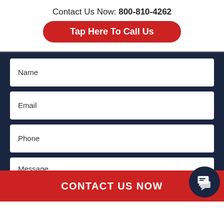Contact Us Now: 800-810-4262
Tap Here To Call Us
Name
Email
Phone
Message
CONTACT US NOW